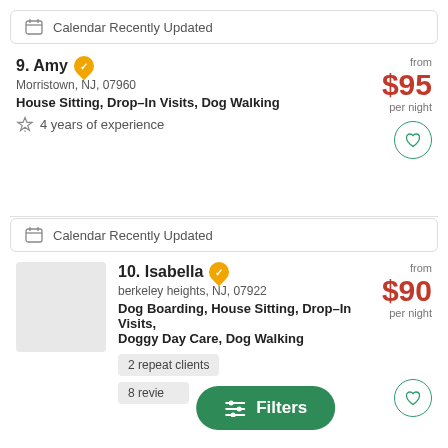Calendar Recently Updated
9. Amy — Morristown, NJ, 07960 — House Sitting, Drop–In Visits, Dog Walking — 4 years of experience — from $95 per night
Calendar Recently Updated
10. Isabella — berkeley heights, NJ, 07922 — Dog Boarding, House Sitting, Drop–In Visits, Doggy Day Care, Dog Walking — 2 repeat clients — 8 reviews — from $90 per night
Filters